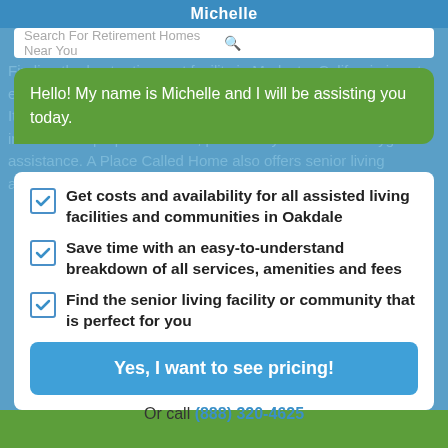Michelle
Search For Retirement Homes Near You
Hello! My name is Michelle and I will be assisting you today.
Finding the best retirement facility in Modesto, California is not easy, however it's possible if you consider A Place Called Home. It is located at 2800 Catala Way, and provides services that include chef-prepared meals, pet friendly facilities and hygiene assistance. A Place Called Home also offers senior living apartments to Stanislaus County elderly adults.
Get costs and availability for all assisted living facilities and communities in Oakdale
Save time with an easy-to-understand breakdown of all services, amenities and fees
Find the senior living facility or community that is perfect for you
Yes, I want to see pricing!
Or call (888) 320-4625